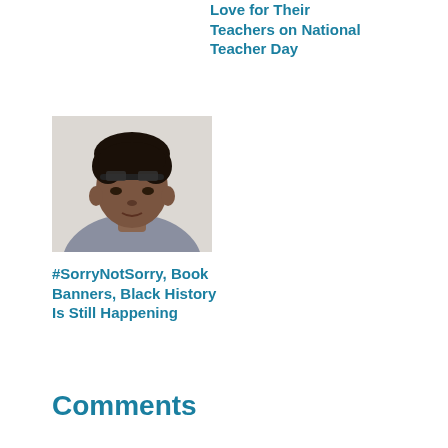Love for Their Teachers on National Teacher Day
[Figure (photo): Portrait photo of a young Black man with curly hair, wearing a gray t-shirt, looking to the side with sunglasses pushed up on forehead]
#SorryNotSorry, Book Banners, Black History Is Still Happening
Comments